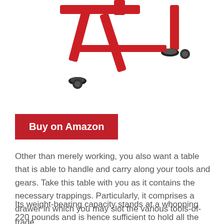[Figure (photo): Partial view of a red metal engine stand or rolling table with casters, shown from above on a white background.]
Buy on Amazon
Other than merely working, you also want a table that is able to handle and carry along your tools and gears. Take this table with you as it contains the necessary trappings. Particularly, it comprises a drawer in which you may slot the various tools-of-trade.
Its weight-bearing capacity stands at a whopping 220 pounds and is hence sufficient to hold all the necessary gears firmly in place. Also